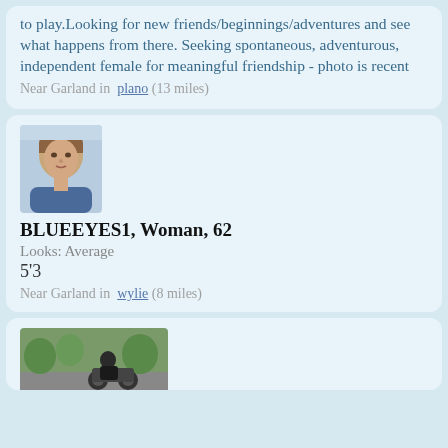to play.Looking for new friends/beginnings/adventures and see what happens from there. Seeking spontaneous, adventurous, independent female for meaningful friendship - photo is recent
Near Garland in plano (13 miles)
[Figure (photo): Profile photo of a woman with short hair, wearing a blue outfit]
BLUEEYES1, Woman, 62
Looks: Average
5'3
Near Garland in wylie (8 miles)
[Figure (photo): Profile photo of a person on a motorcycle outdoors]